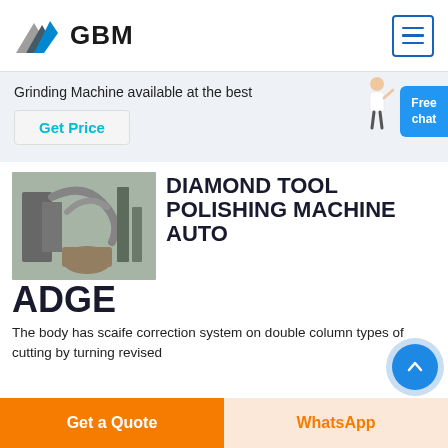GBM
Grinding Machine available at the best
Get Price
Free chat
[Figure (photo): Industrial grinding/milling machine with pipes and equipment]
DIAMOND TOOL POLISHING MACHINE AUTO ADGE
The body has scaife correction system on double column types of cutting by turning revised
Get a Quote
WhatsApp